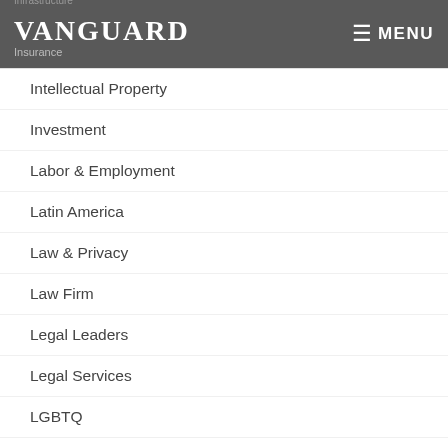VANGUARD | Infrastructure | Insurance | ☰ MENU
Intellectual Property
Investment
Labor & Employment
Latin America
Law & Privacy
Law Firm
Legal Leaders
Legal Services
LGBTQ
Litigation
Logistics
Logistics Management
Manufacturing